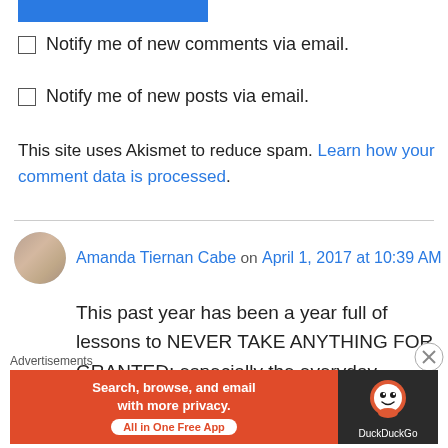[Figure (other): Blue button/bar partially visible at top]
Notify me of new comments via email.
Notify me of new posts via email.
This site uses Akismet to reduce spam. Learn how your comment data is processed.
Amanda Tiernan Cabe on April 1, 2017 at 10:39 AM
This past year has been a year full of lessons to NEVER TAKE ANYTHING FOR GRANTED; especially the everyday. Always a good reminder. Thank you.
Advertisements
[Figure (screenshot): DuckDuckGo advertisement banner: Search, browse, and email with more privacy. All in One Free App]